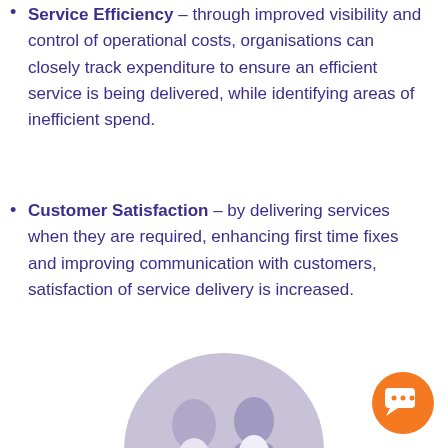Service Efficiency – through improved visibility and control of operational costs, organisations can closely track expenditure to ensure an efficient service is being delivered, while identifying areas of inefficient spend.
Customer Satisfaction – by delivering services when they are required, enhancing first time fixes and improving communication with customers, satisfaction of service delivery is increased.
[Figure (photo): Circular cropped photo at bottom center showing people, partially visible. Orange chat button in bottom right corner.]